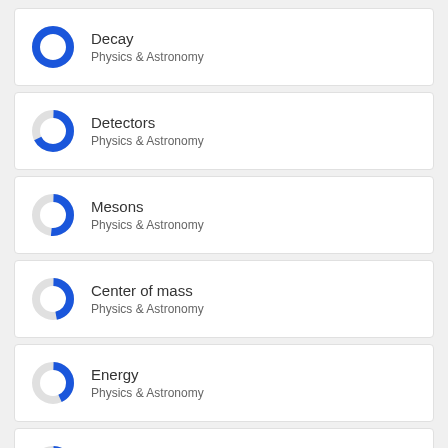Decay
Physics & Astronomy
Detectors
Physics & Astronomy
Mesons
Physics & Astronomy
Center of mass
Physics & Astronomy
Energy
Physics & Astronomy
Confidence
Physics & Astronomy